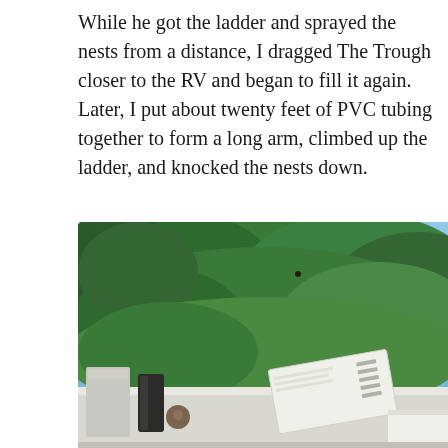While he got the ladder and sprayed the nests from a distance, I dragged The Trough closer to the RV and began to fill it again. Later, I put about twenty feet of PVC tubing together to form a long arm, climbed up the ladder, and knocked the nests down.
[Figure (photo): Outdoor photograph showing pine trees against a blue sky in the background, with RV rooftop equipment including a white rectangular AC or vent unit tilted diagonally, a dark canister, a small white container, and other objects on the white RV roof.]